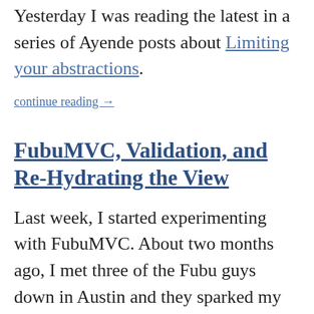Yesterday I was reading the latest in a series of Ayende posts about Limiting your abstractions.
continue reading →
FubuMVC, Validation, and Re-Hydrating the View
Last week, I started experimenting with FubuMVC. About two months ago, I met three of the Fubu guys down in Austin and they sparked my curiosity about FubuMVC. Last month I took Udi Dahan's excellent SOA course and asked